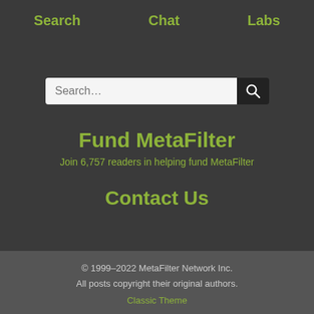Search   Chat   Labs
[Figure (other): Search input box with magnifying glass button]
Fund MetaFilter
Join 6,757 readers in helping fund MetaFilter
Contact Us
© 1999–2022 MetaFilter Network Inc.

All posts copyright their original authors.

Classic Theme